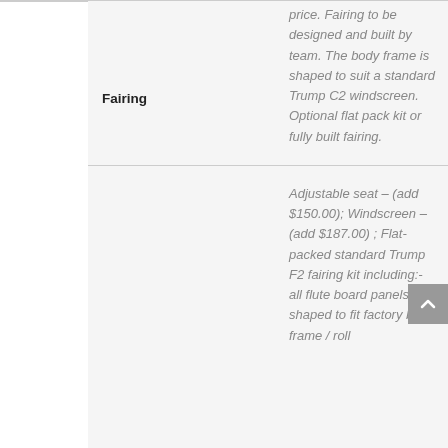|  | Feature | Description |
| --- | --- | --- |
|  | Fairing | price. Fairing to be designed and built by team. The body frame is shaped to suit a standard Trump C2 windscreen. Optional flat pack kit or fully built fairing. |
|  |  | Adjustable seat – (add $150.00); Windscreen – (add $187.00) ; Flat-packed standard Trump F2 fairing kit including:- all flute board panels, shaped to fit factory body frame / roll |